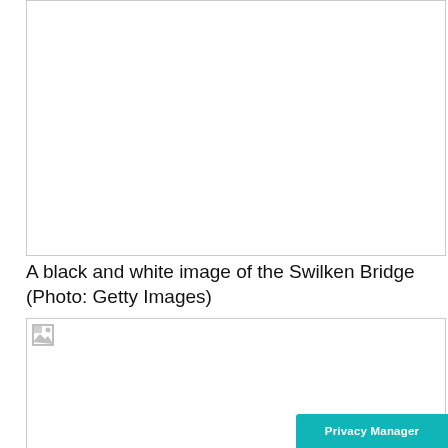[Figure (photo): White/blank image placeholder at the top of the page, bordered rectangle]
A black and white image of the Swilken Bridge (Photo: Getty Images)
[Figure (photo): Second image placeholder with broken image icon in top-left corner]
[Figure (screenshot): GolfMagic YouTube subscription advertisement banner with red background on left showing SUBSCRIBE TO GOLFMAGIC text and white right panel showing GolfMagic YouTube branding. Has an X close button and a Privacy Manager button.]